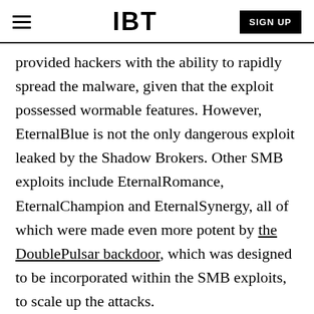IBT | SIGN UP
provided hackers with the ability to rapidly spread the malware, given that the exploit possessed wormable features. However, EternalBlue is not the only dangerous exploit leaked by the Shadow Brokers. Other SMB exploits include EternalRomance, EternalChampion and EternalSynergy, all of which were made even more potent by the DoublePulsar backdoor, which was designed to be incorporated within the SMB exploits, to scale up the attacks.